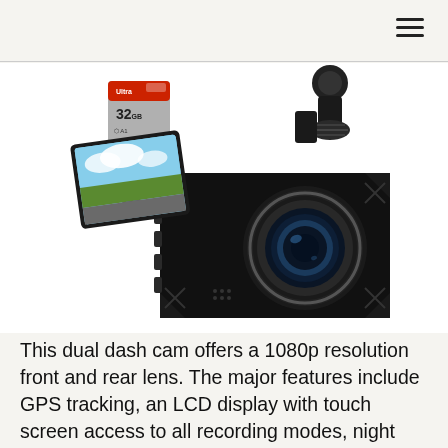≡
[Figure (photo): A JIIWEY dual dash cam shown from the front-right angle, with a smaller display screen tilted to the left showing a road/landscape image, a large circular camera lens visible on the front face, and a mount arm extending upward. A SanDisk Ultra 32GB microSD card is shown in the upper left corner of the image.]
This dual dash cam offers a 1080p resolution front and rear lens. The major features include GPS tracking, an LCD display with touch screen access to all recording modes, night vision up